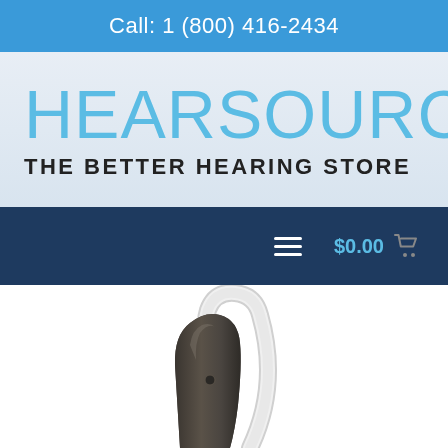Call: 1 (800) 416-2434
HEARSOURCE
THE BETTER HEARING STORE
$0.00
[Figure (photo): A behind-the-ear (BTE) hearing aid in dark bronze/gunmetal color with a silver/white curved receiver tube, photographed against a white background. Only the upper portion of the device is visible.]